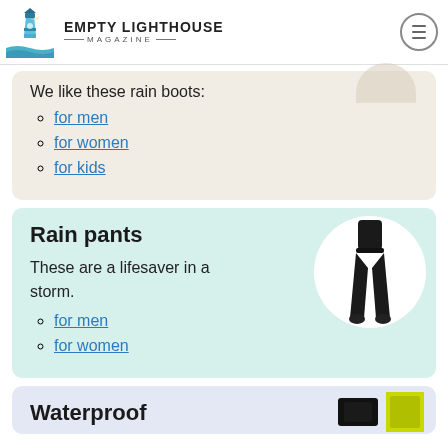EMPTY LIGHTHOUSE MAGAZINE
We like these rain boots:
for men
for women
for kids
Rain pants
These are a lifesaver in a storm.
for men
for women
[Figure (photo): Person wearing black rain pants, full length view]
Waterproof